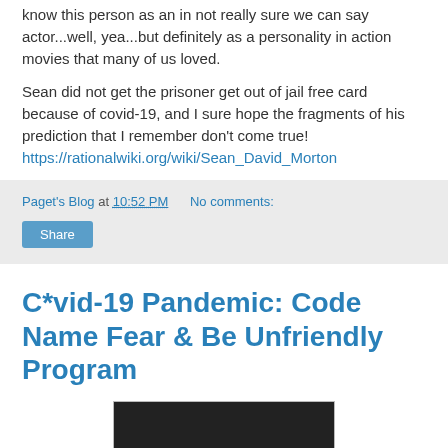know this person as an in not really sure we can say actor...well, yea...but definitely as a personality in action movies that many of us loved.
Sean did not get the prisoner get out of jail free card because of covid-19, and I sure hope the fragments of his prediction that I remember don't come true! https://rationalwiki.org/wiki/Sean_David_Morton
Paget's Blog at 10:52 PM   No comments:
Share
C*vid-19 Pandemic: Code Name Fear & Be Unfriendly Program
[Figure (photo): Dark image, partially visible at bottom of page]